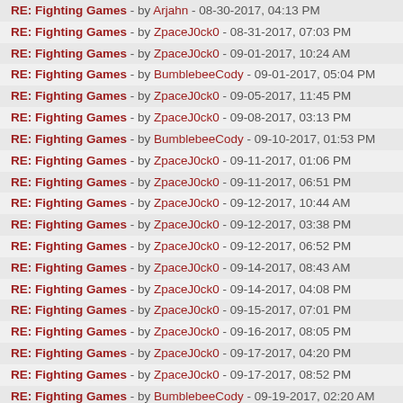RE: Fighting Games - by Arjahn - 08-30-2017, 04:13 PM
RE: Fighting Games - by ZpaceJ0ck0 - 08-31-2017, 07:03 PM
RE: Fighting Games - by ZpaceJ0ck0 - 09-01-2017, 10:24 AM
RE: Fighting Games - by BumblebeeCody - 09-01-2017, 05:04 PM
RE: Fighting Games - by ZpaceJ0ck0 - 09-05-2017, 11:45 PM
RE: Fighting Games - by ZpaceJ0ck0 - 09-08-2017, 03:13 PM
RE: Fighting Games - by BumblebeeCody - 09-10-2017, 01:53 PM
RE: Fighting Games - by ZpaceJ0ck0 - 09-11-2017, 01:06 PM
RE: Fighting Games - by ZpaceJ0ck0 - 09-11-2017, 06:51 PM
RE: Fighting Games - by ZpaceJ0ck0 - 09-12-2017, 10:44 AM
RE: Fighting Games - by ZpaceJ0ck0 - 09-12-2017, 03:38 PM
RE: Fighting Games - by ZpaceJ0ck0 - 09-12-2017, 06:52 PM
RE: Fighting Games - by ZpaceJ0ck0 - 09-14-2017, 08:43 AM
RE: Fighting Games - by ZpaceJ0ck0 - 09-14-2017, 04:08 PM
RE: Fighting Games - by ZpaceJ0ck0 - 09-15-2017, 07:01 PM
RE: Fighting Games - by ZpaceJ0ck0 - 09-16-2017, 08:05 PM
RE: Fighting Games - by ZpaceJ0ck0 - 09-17-2017, 04:20 PM
RE: Fighting Games - by ZpaceJ0ck0 - 09-17-2017, 08:52 PM
RE: Fighting Games - by BumblebeeCody - 09-19-2017, 02:20 AM
RE: Fighting Games - by ZpaceJ0ck0 - 09-19-2017, 01:18 PM
RE: Fighting Games - by ZpaceJ0ck0 - 09-20-2017, 04:16 PM
RE: Fighting Games - by ZpaceJ0ck0 - 09-20-2017, 09:33 PM
RE: Fighting Games - by Psychospacecow - 09-21-2017, 03:37 PM
RE: Fighting Games - by ZpaceJ0ck0 - 09-22-2017, 01:20 PM
RE: Fighting Games - by ZpaceJ0ck0 - 09-22-2017, 04:47 PM